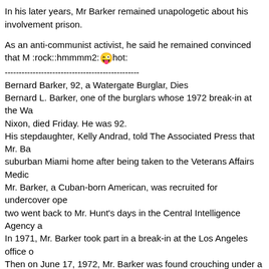In his later years, Mr Barker remained unapologetic about his involvement…prison.
As an anti-communist activist, he said he remained convinced that M…:rock::hmmmm2:😜hot:
------------------------------------------------
Bernard Barker, 92, a Watergate Burglar, Dies
Bernard L. Barker, one of the burglars whose 1972 break-in at the Wa… Nixon, died Friday. He was 92.
His stepdaughter, Kelly Andrad, told The Associated Press that Mr. Ba… suburban Miami home after being taken to the Veterans Affairs Medic…
Mr. Barker, a Cuban-born American, was recruited for undercover ope… two went back to Mr. Hunt's days in the Central Intelligence Agency a…
In 1971, Mr. Barker took part in a break-in at the Los Angeles office o…
Then on June 17, 1972, Mr. Barker was found crouching under a des…
Three other men caught with him also had ties to the Bay of Pigs ope… campaign.
In May 1973, Mr. Barker told the Senate Watergate committee that hi… had received financial support from the government of Cuba and thus…
Mr. Barker pleaded guilty in January 1973 to seven charges of consp… allow him to withdraw his guilty plea and stand trial. Judge Sirica den… 18 months to six years.